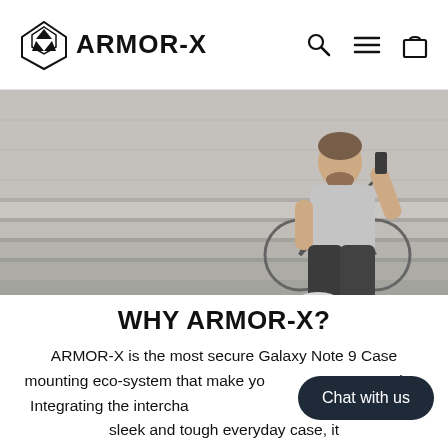ARMOR-X
[Figure (photo): Man sitting on concrete steps with a bicycle leaning against wall behind him, talking on phone, wearing grey t-shirt and black pants]
WHY ARMOR-X?
ARMOR-X is the most secure Galaxy Note 9 Case mounting eco-system that make yo... more active. Integrating the intercha... interface into a sleek and tough everyday case, it Galaxy Note 9 Case into...